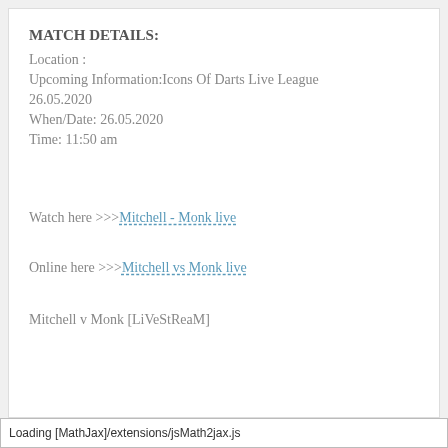MATCH DETAILS:
Location :
Upcoming Information:Icons Of Darts Live League
26.05.2020
When/Date: 26.05.2020
Time: 11:50 am
Watch here >>>Mitchell - Monk live
Online here >>>Mitchell vs Monk live
Mitchell v Monk [LiVeStReaM]
Loading [MathJax]/extensions/jsMath2jax.js